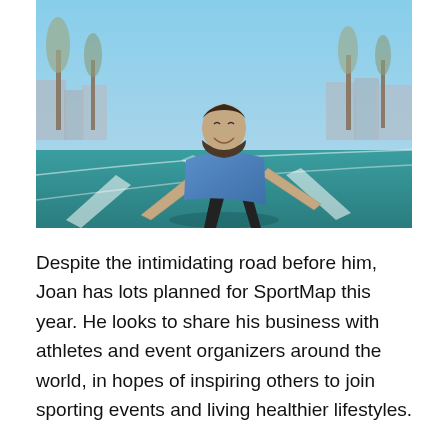[Figure (photo): A bearded man in a blue sweater is crouched in a runner's starting position on a blue outdoor athletic track. His bare hands and feet touch the ground. He is smiling. Trees and urban buildings are visible in the background under a clear blue sky.]
Despite the intimidating road before him, Joan has lots planned for SportMap this year. He looks to share his business with athletes and event organizers around the world, in hopes of inspiring others to join sporting events and living healthier lifestyles.
Make a difference in the lives of many others.